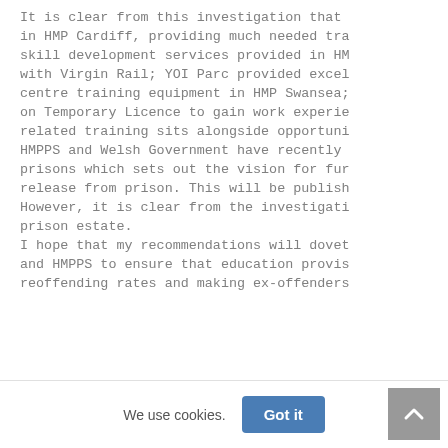It is clear from this investigation that in HMP Cardiff, providing much needed tra skill development services provided in HM with Virgin Rail; YOI Parc provided excel centre training equipment in HMP Swansea; on Temporary Licence to gain work experie related training sits alongside opportuni HMPPS and Welsh Government have recently prisons which sets out the vision for fur release from prison. This will be publish However, it is clear from the investigati prison estate. I hope that my recommendations will dovet and HMPPS to ensure that education provis reoffending rates and making ex-offenders
We use cookies. Got it